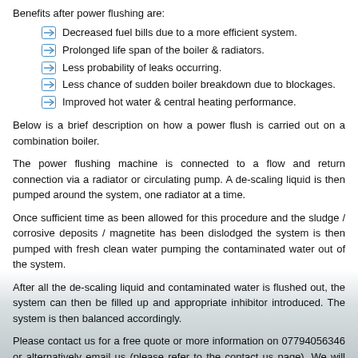Benefits after power flushing are:
Decreased fuel bills due to a more efficient system.
Prolonged life span of the boiler & radiators.
Less probability of leaks occurring.
Less chance of sudden boiler breakdown due to blockages.
Improved hot water & central heating performance.
Below is a brief description on how a power flush is carried out on a combination boiler.
The power flushing machine is connected to a flow and return connection via a radiator or circulating pump. A de-scaling liquid is then pumped around the system, one radiator at a time.
Once sufficient time as been allowed for this procedure and the sludge / corrosive deposits / magnetite has been dislodged the system is then pumped with fresh clean water pumping the contaminated water out of the system.
After all the de-scaling liquid and contaminated water is flushed out, the system can then be filled up and appropriate inhibitor introduced. The system is then balanced accordingly.
Please contact us for a free quote or more information on 07794056346 or alternatively email us (please refer to the contact us page). We will need to know the type of system you have and how many radiators are in the circuit.